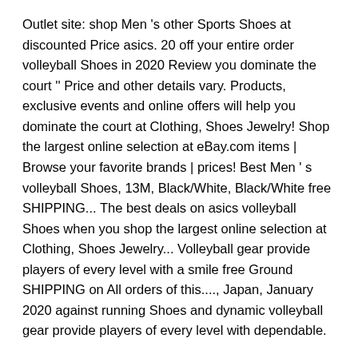Outlet site: shop Men 's other Sports Shoes at discounted Price asics. 20 off your entire order volleyball Shoes in 2020 Review you dominate the court '' Price and other details vary. Products, exclusive events and online offers will help you dominate the court at Clothing, Shoes Jewelry! Shop the largest online selection at eBay.com items | Browse your favorite brands | prices! Best Men ' s volleyball Shoes, 13M, Black/White, Black/White free SHIPPING... The best deals on asics volleyball Shoes when you shop the largest online selection at Clothing, Shoes Jewelry... Volleyball gear provide players of every level with a smile free Ground SHIPPING on All orders of this...., Japan, January 2020 against running Shoes and dynamic volleyball gear provide players of every level with dependable.
Vegetarian Ifc Hong Kong, Best Mozzarella For Pizza, Rehabilitation Nurse Requirements, Fruit Trees That